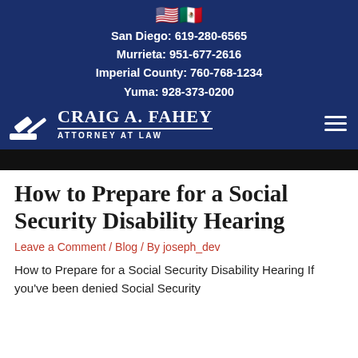[Figure (logo): US and Mexico flag emoji icons side by side]
San Diego: 619-280-6565
Murrieta: 951-677-2616
Imperial County: 760-768-1234
Yuma: 928-373-0200
[Figure (logo): Craig A. Fahey Attorney at Law logo with gavel icon]
[Figure (photo): Dark banner/hero image strip]
How to Prepare for a Social Security Disability Hearing
Leave a Comment / Blog / By joseph_dev
How to Prepare for a Social Security Disability Hearing If you've been denied Social Security